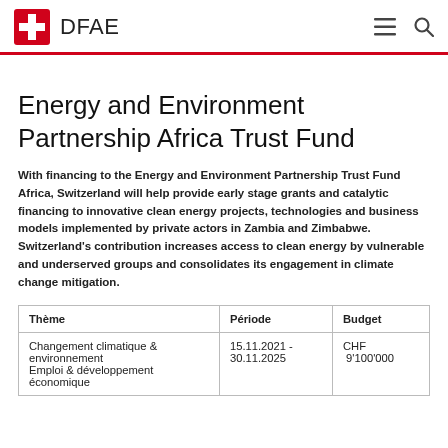DFAE
Energy and Environment Partnership Africa Trust Fund
With financing to the Energy and Environment Partnership Trust Fund Africa, Switzerland will help provide early stage grants and catalytic financing to innovative clean energy projects, technologies and business models implemented by private actors in Zambia and Zimbabwe. Switzerland's contribution increases access to clean energy by vulnerable and underserved groups and consolidates its engagement in climate change mitigation.
| Thème | Période | Budget |
| --- | --- | --- |
| Changement climatique &
environnement
Emploi & développement
économique | 15.11.2021 -
30.11.2025 | CHF
 9'100'000 |